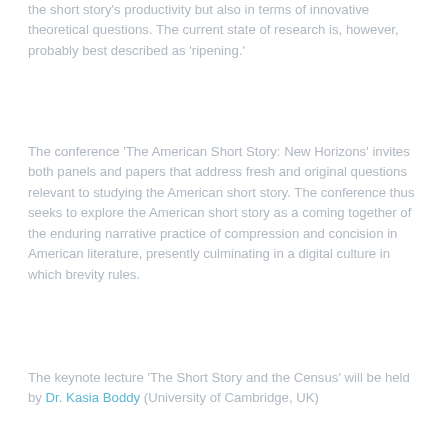the short story's productivity but also in terms of innovative theoretical questions. The current state of research is, however, probably best described as 'ripening.'
The conference 'The American Short Story: New Horizons' invites both panels and papers that address fresh and original questions relevant to studying the American short story. The conference thus seeks to explore the American short story as a coming together of the enduring narrative practice of compression and concision in American literature, presently culminating in a digital culture in which brevity rules.
The keynote lecture 'The Short Story and the Census' will be held by Dr. Kasia Boddy (University of Cambridge, UK)